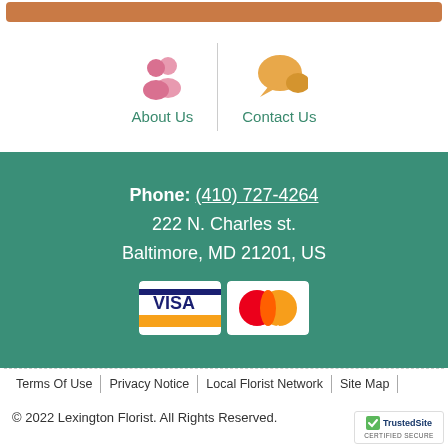[Figure (other): Orange/brown decorative header bar]
[Figure (illustration): Two-column navigation with About Us (pink people icon) and Contact Us (orange chat bubble icon), separated by a vertical divider]
Phone: (410) 727-4264
222 N. Charles st.
Baltimore, MD 21201, US
[Figure (other): Visa and MasterCard payment icons]
Terms Of Use | Privacy Notice | Local Florist Network | Site Map
© 2022 Lexington Florist. All Rights Reserved.
[Figure (other): TrustedSite Certified Secure badge]